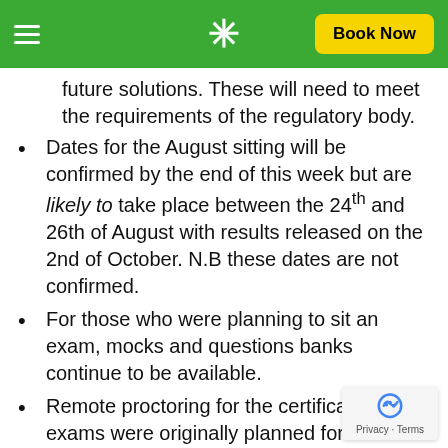Book Now
future solutions. These will need to meet the requirements of the regulatory body.
Dates for the August sitting will be confirmed by the end of this week but are likely to take place between the 24th and 26th of August with results released on the 2nd of October. N.B these dates are not confirmed.
For those who were planning to sit an exam, mocks and questions banks continue to be available.
Remote proctoring for the certificate level exams were originally planned for 2021 ICAEW are now working to make these available as soon as possible.